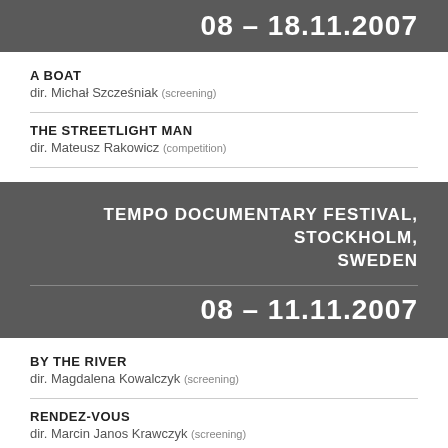08 – 18.11.2007
A BOAT
dir. Michał Szcześniak (screening)
THE STREETLIGHT MAN
dir. Mateusz Rakowicz (competition)
TEMPO DOCUMENTARY FESTIVAL, STOCKHOLM, SWEDEN
08 – 11.11.2007
BY THE RIVER
dir. Magdalena Kowalczyk (screening)
RENDEZ-VOUS
dir. Marcin Janos Krawczyk (screening)